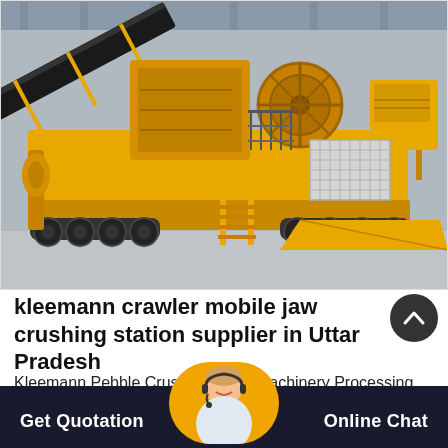[Figure (photo): A large yellow Kleemann crawler mobile jaw crushing station on a flatbed trailer, photographed inside an industrial facility with a grey floor and steel roof structure. The machine features a prominent conveyor belt at the top, jaw crusher unit, access stairs, safety railings, and large rubber tires.]
kleemann crawler mobile jaw crushing station supplier in Uttar Pradesh
Kleemann Pebble Crusher Heavy Machinery Processing. Mc 140 z mobile jaw crushers kleemann this jaw crusher is used
Get Quotation   Online Chat